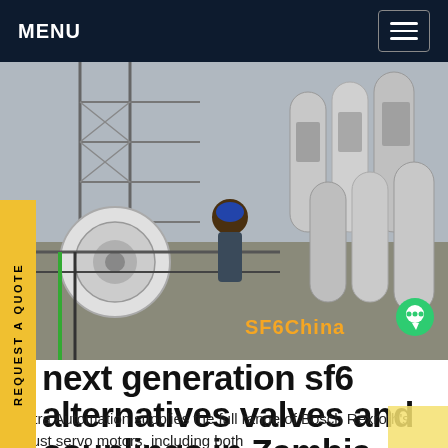MENU
[Figure (photo): Industrial equipment photo showing SF6 gas cylinders, machinery, cables and scaffolding with orange SF6China watermark]
REQUEST A QUOTE
next generation sf6 alternatives valves and couplings in Zambia
Tectra Automation supplies the full range of Bosch Rexroth's robust servo motors, including both